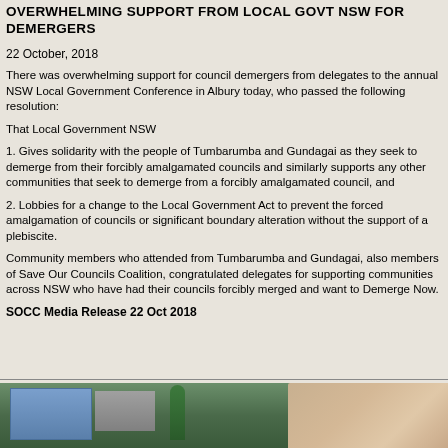OVERWHELMING SUPPORT FROM LOCAL GOVT NSW FOR DEMERGERS
22 October, 2018
There was overwhelming support for council demergers from delegates to the annual NSW Local Government Conference in Albury today, who passed the following resolution:
That Local Government NSW
1. Gives solidarity with the people of Tumbarumba and Gundagai as they seek to demerge from their forcibly amalgamated councils and similarly supports any other communities that seek to demerge from a forcibly amalgamated council, and
2. Lobbies for a change to the Local Government Act to prevent the forced amalgamation of councils or significant boundary alteration without the support of a plebiscite.
Community members who attended from Tumbarumba and Gundagai, also members of Save Our Councils Coalition, congratulated delegates for supporting communities across NSW who have had their councils forcibly merged and want to Demerge Now.
SOCC Media Release 22 Oct 2018
[Figure (photo): Group photo of community members outside a building]